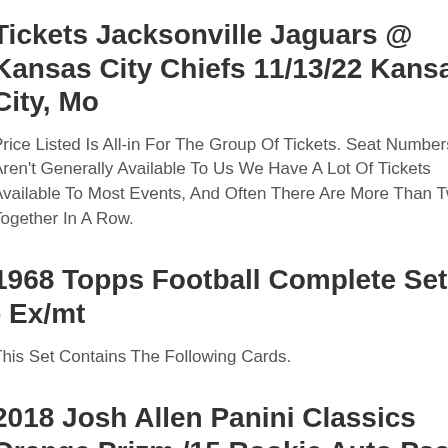Tickets Jacksonville Jaguars @ Kansas City Chiefs 11/13/22 Kansas City, Mo
Price Listed Is All-in For The Group Of Tickets. Seat Numbers Aren't Generally Available To Us We Have A Lot Of Tickets Available To Most Events, And Often There Are More Than Two Together In A Row.
1968 Topps Football Complete Set 6 - Ex/mt
This Set Contains The Following Cards.
2018 Josh Allen Panini Classics Orange Prizm /15 Rookie Auto Psa 9 Pop 1 🏈❤
1986 Topps #161 - Jerry Rice - Psa / Dna 10+++ R... Signed Hof #...